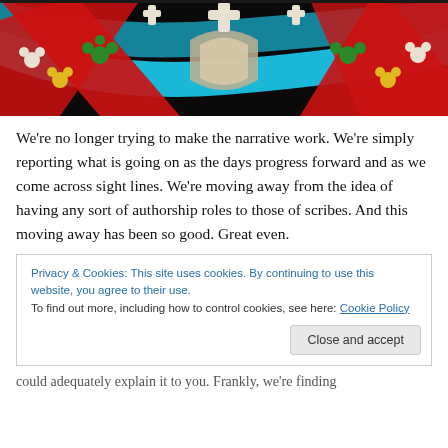[Figure (photo): A colorful stained glass window with symmetrical design featuring bold red, cyan/blue, black, and green sections, with decorative floral and cross motifs in white, yellow, and green on a dark background.]
We're no longer trying to make the narrative work. We're simply reporting what is going on as the days progress forward and as we come across sight lines. We're moving away from the idea of having any sort of authorship roles to those of scribes. And this moving away has been so good. Great even.
Privacy & Cookies: This site uses cookies. By continuing to use this website, you agree to their use.
To find out more, including how to control cookies, see here: Cookie Policy
[Close and accept]
could adequately explain it to you. Frankly, we're finding